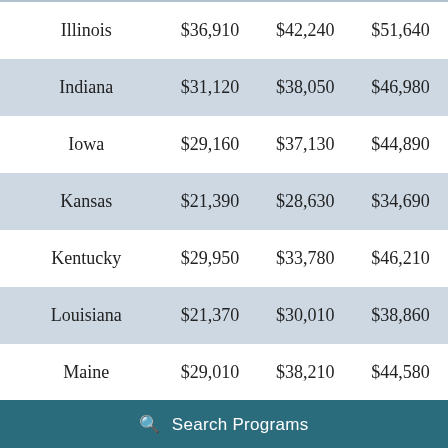| Illinois | $36,910 | $42,240 | $51,640 |
| Indiana | $31,120 | $38,050 | $46,980 |
| Iowa | $29,160 | $37,130 | $44,890 |
| Kansas | $21,390 | $28,630 | $34,690 |
| Kentucky | $29,950 | $33,780 | $46,210 |
| Louisiana | $21,370 | $30,010 | $38,860 |
| Maine | $29,010 | $38,210 | $44,580 |
| Maryland | $34,840 | $37,510 | $46,880 |
| Massachusetts | $37,070 | $38,390 | $58,160 |
Search Programs